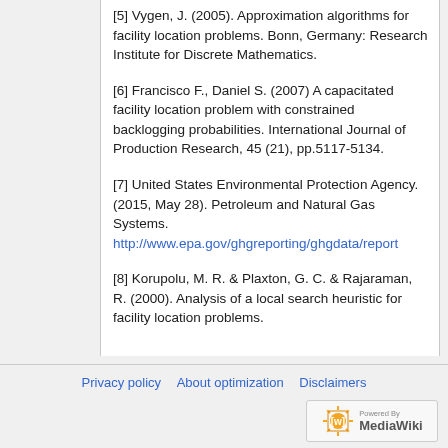[5] Vygen, J. (2005). Approximation algorithms for facility location problems. Bonn, Germany: Research Institute for Discrete Mathematics.
[6] Francisco F., Daniel S. (2007) A capacitated facility location problem with constrained backlogging probabilities. International Journal of Production Research, 45 (21), pp.5117-5134.
[7] United States Environmental Protection Agency. (2015, May 28). Petroleum and Natural Gas Systems. http://www.epa.gov/ghgreporting/ghgdata/report
[8] Korupolu, M. R. & Plaxton, G. C. & Rajaraman, R. (2000). Analysis of a local search heuristic for facility location problems.
Privacy policy   About optimization   Disclaimers